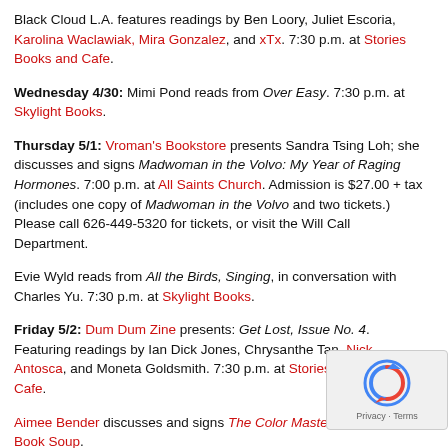Black Cloud L.A. features readings by Ben Loory, Juliet Escoria, Karolina Waclawiak, Mira Gonzalez, and xTx. 7:30 p.m. at Stories Books and Cafe.
Wednesday 4/30: Mimi Pond reads from Over Easy. 7:30 p.m. at Skylight Books.
Thursday 5/1: Vroman's Bookstore presents Sandra Tsing Loh; she discusses and signs Madwoman in the Volvo: My Year of Raging Hormones. 7:00 p.m. at All Saints Church. Admission is $27.00 + tax (includes one copy of Madwoman in the Volvo and two tickets.) Please call 626-449-5320 for tickets, or visit the Will Call Department.
Evie Wyld reads from All the Birds, Singing, in conversation with Charles Yu. 7:30 p.m. at Skylight Books.
Friday 5/2: Dum Dum Zine presents: Get Lost, Issue No. 4. Featuring readings by Ian Dick Jones, Chrysanthe Tan, Nick Antosca, and Moneta Goldsmith. 7:30 p.m. at Stories Books and Cafe.
Aimee Bender discusses and signs The Color Master. 7:30 p. at Book Soup.